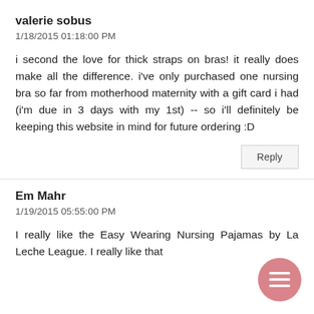valerie sobus
1/18/2015 01:18:00 PM
i second the love for thick straps on bras! it really does make all the difference. i've only purchased one nursing bra so far from motherhood maternity with a gift card i had (i'm due in 3 days with my 1st) -- so i'll definitely be keeping this website in mind for future ordering :D
Reply
Em Mahr
1/19/2015 05:55:00 PM
I really like the Easy Wearing Nursing Pajamas by La Leche League. I really like that